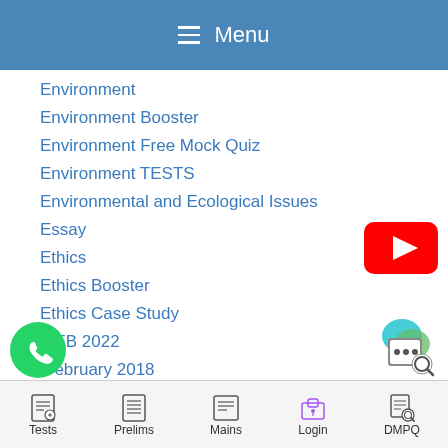Menu
Environment
Environment Booster
Environment Free Mock Quiz
Environment TESTS
Environmental and Ecological Issues
Essay
Ethics
Ethics Booster
Ethics Case Study
FEB 2022
February 2018
[Figure (logo): YouTube play button logo (red rounded rectangle with white triangle)]
[Figure (logo): WhatsApp green phone icon]
[Figure (screenshot): Chat/DMPQ icon with magnifying glass]
Tests    Prelims    Mains    Login    DMPQ